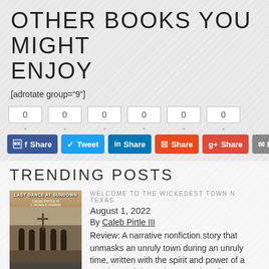OTHER BOOKS YOU MIGHT ENJOY
[adrotate group="9"]
[Figure (screenshot): Social share button row with six share counters (all showing 0) and six social share buttons: Facebook Share, Twitter Tweet, LinkedIn Share, StumbleUpon Share, Google+ Share, Email]
TRENDING POSTS
[Figure (photo): Book cover: Last Dance at Sundown by Caleb Pirtle III and J. Ronald Hardin, showing historical sepia photograph of a group of men]
WELCOME TO THE WICKEDEST TOWN N TEXAS
August 1, 2022
By Caleb Pirtle III
Review: A narrative nonfiction story that unmasks an unruly town during an unruly time, written with the spirit and power of a novel,  Special Introductory Price of 99 cents I have always been fascinated with the